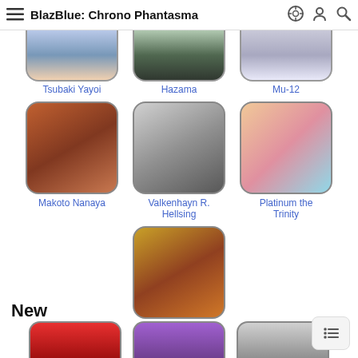BlazBlue: Chrono Phantasma
[Figure (screenshot): Character selection grid from BlazBlue: Chrono Phantasma wiki. Top row (partially visible): Tsubaki Yayoi, Hazama, Mu-12. Middle row: Makoto Nanaya, Valkenhayn R. Hellsing, Platinum the Trinity. Single row: Relius Clover. Below: 'New' section header with three more partially visible character thumbnails.]
Tsubaki Yayoi
Hazama
Mu-12
Makoto Nanaya
Valkenhayn R. Hellsing
Platinum the Trinity
Relius Clover
New